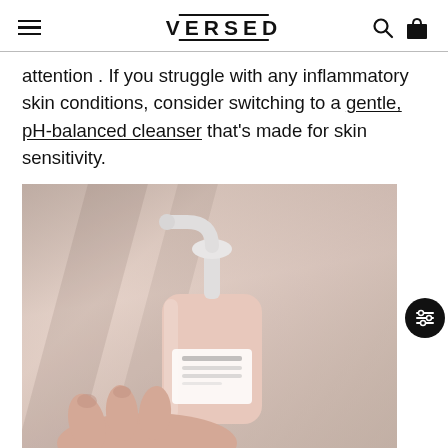VERSED
attention . If you struggle with any inflammatory skin conditions, consider switching to a gentle, pH-balanced cleanser that's made for skin sensitivity.
[Figure (photo): Hand holding a pink pump bottle of Versed gentle cleanser against a light draped fabric background.]